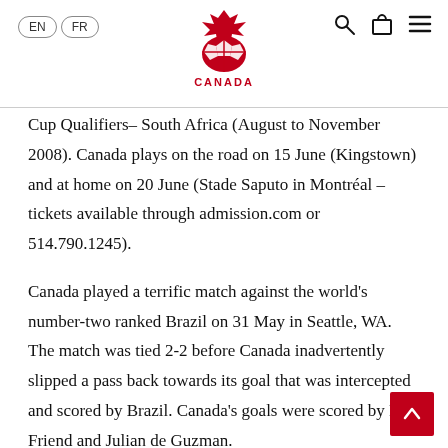EN FR [Canada Soccer Logo] [Search] [Cart] [Menu]
Cup Qualifiers– South Africa (August to November 2008). Canada plays on the road on 15 June (Kingstown) and at home on 20 June (Stade Saputo in Montréal – tickets available through admission.com or 514.790.1245).
Canada played a terrific match against the world's number-two ranked Brazil on 31 May in Seattle, WA. The match was tied 2-2 before Canada inadvertently slipped a pass back towards its goal that was intercepted and scored by Brazil. Canada's goals were scored by Rob Friend and Julian de Guzman.
On 4 June, Canada played to a 2:2 draw with CONCACAF